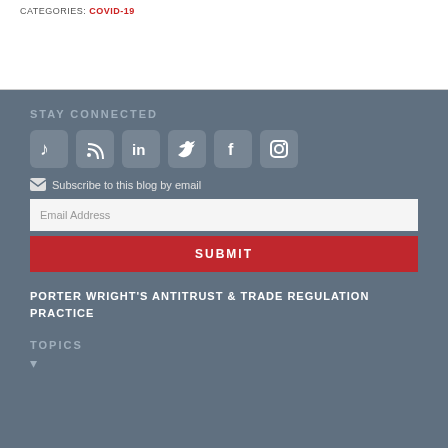CATEGORIES: COVID-19
STAY CONNECTED
[Figure (infographic): Social media icons: music/podcast, RSS feed, LinkedIn, Twitter, Facebook, Instagram]
Subscribe to this blog by email
Email Address
SUBMIT
PORTER WRIGHT'S ANTITRUST & TRADE REGULATION PRACTICE
TOPICS